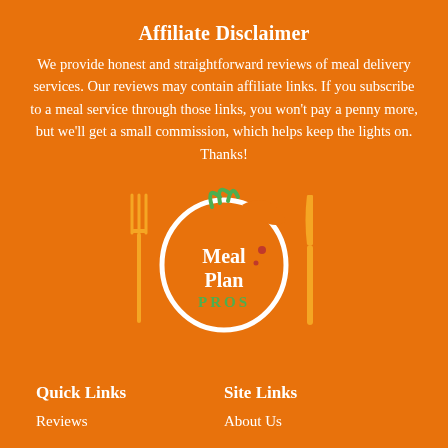Affiliate Disclaimer
We provide honest and straightforward reviews of meal delivery services. Our reviews may contain affiliate links. If you subscribe to a meal service through those links, you won't pay a penny more, but we'll get a small commission, which helps keep the lights on. Thanks!
[Figure (logo): Meal Plan Pros logo with a circular white swoosh forming a fruit/tomato shape with green leaves on top, flanked by a yellow fork on the left and a yellow knife on the right. Text reads 'Meal Plan PROS' with PROS in green.]
Quick Links
Site Links
Reviews
About Us